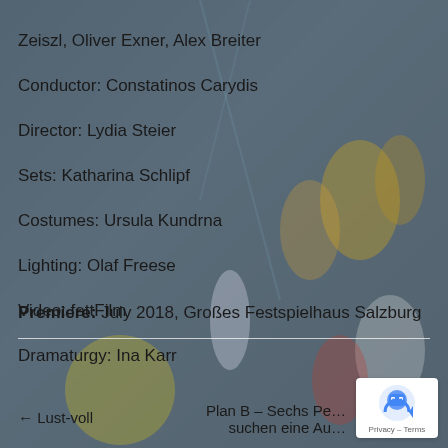[Figure (photo): Stage performance photo showing performers in yellow and colorful costumes against a dark theatrical backdrop with blue/teal lighting]
Zeiszl, Oliver Exner, Alex Breiter
Conductor: Constatinos Carydis
Director: Lydia Steier
Sets: Katharina Schlipf
Costumes: Ursula Kundrna
Lighting: Olaf Freese
Video: fettFilm
Dramaturgy: Ina Karr
Premiere: July 2018, Großes Festspielhaus Salzburg
← Lust-voll
Plan B – Sechs Pe… suchen eine Au…